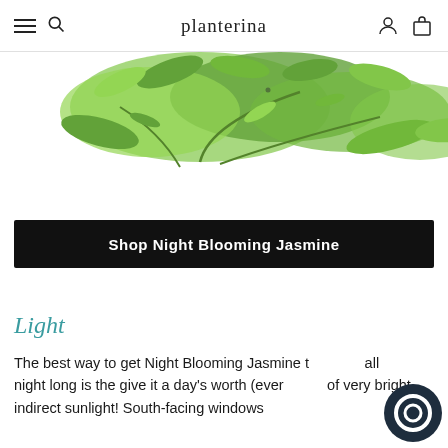planterina
[Figure (photo): Green leafy branches of Night Blooming Jasmine plant against white background, viewed from below/side]
Shop Night Blooming Jasmine
Light
The best way to get Night Blooming Jasmine to all night long is the give it a day's worth (every of very bright indirect sunlight! South-facing windows